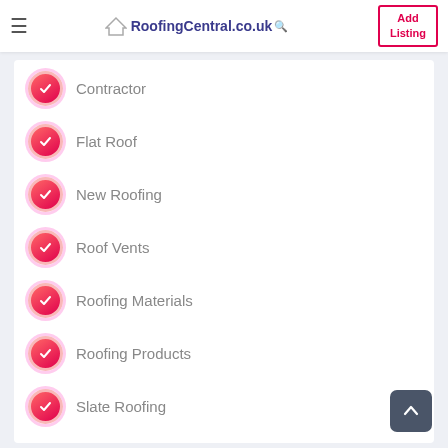RoofingCentral.co.uk | Add Listing
Contractor
Flat Roof
New Roofing
Roof Vents
Roofing Materials
Roofing Products
Slate Roofing